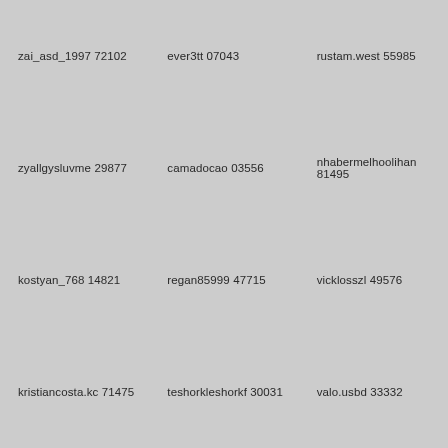zai_asd_1997 72102
ever3tt 07043
rustam.west 55985
zyallgysluvme 29877
camadocao 03556
nhabermelhoolihan 81495
kostyan_768 14821
regan85999 47715
vicklosszl 49576
kristiancosta.kc 71475
teshorkleshorkf 30031
valo.usbd 33332